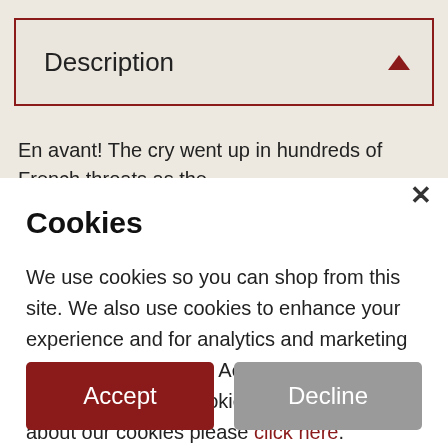Description
En avant! The cry went up in hundreds of French throats as the blue columns marched forward on the battlefields across
Cookies
We use cookies so you can shop from this site. We also use cookies to enhance your experience and for analytics and marketing purposes. By clicking Accept below, you are agreeing to these cookies. To find out more about our cookies please click here.
Accept
Decline